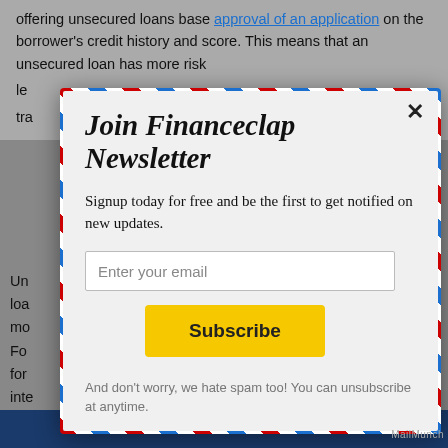offering unsecured loans base approval of an application on the borrower's credit history and score. This means that an unsecured loan has more risk... le... tra...
Un... loa... mo... Fo... for... inte... tha... req... imp... loa...
Join Financeclap Newsletter
Signup today for free and be the first to get notified on new updates.
Enter your email
Subscribe
And don't worry, we hate spam too! You can unsubscribe at anytime.